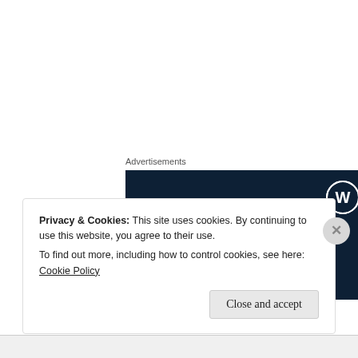Advertisements
[Figure (screenshot): WordPress advertisement banner with dark navy background. Shows WordPress logo (W in circle) in top right. Large white serif text reads 'Opinions.' with partial text below cut off.]
Privacy & Cookies: This site uses cookies. By continuing to use this website, you agree to their use.
To find out more, including how to control cookies, see here: Cookie Policy
Close and accept